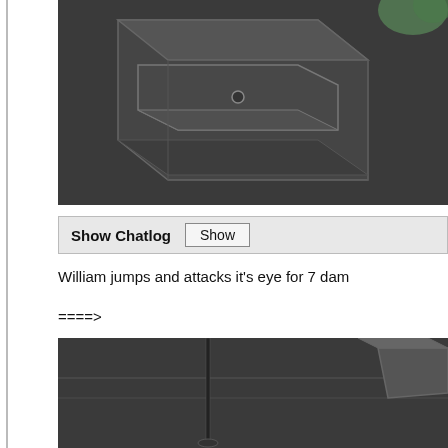[Figure (illustration): Top portion of a dark-toned isometric illustration showing a filing cabinet with a small drawer knob and some green plant element in the upper right corner.]
[Figure (screenshot): UI element: a gray bar labeled 'Show Chatlog' with a button reading 'Show'.]
William jumps and attacks it's eye for 7 dam
====>
[Figure (illustration): Bottom portion of a dark-toned isometric illustration showing a floor with a thin vertical pole/stand and an object in the upper right.]